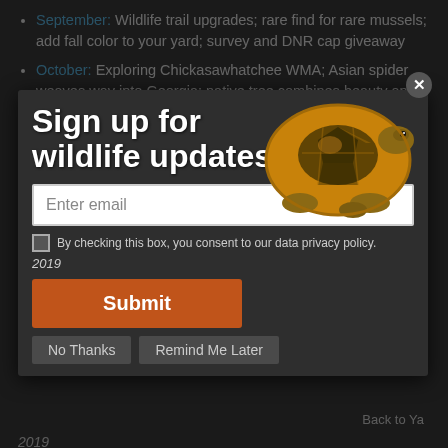September: Wildlife trail upgrades; rare find for rare mussels; add fall color to your yard; survey and DNR cap giveaway
October: Exploring Chickasawhatchee WMA; Asian spider weaves way into Georgia; native tree combines beauty and bounty; rare plant; lower Broad River
[November: ...signs of the future; treefrogs; New species discovered...]
December: Right whales: what you need to know; why weather loaches aren't welcome; winter survival and...
Sign up for wildlife updates
Enter email
By checking this box, you consent to our data privacy policy.
2019
Submit
[February: wildlife work in review; more right whale calves; new video; bald eagles vs. sandhill cranes; are po... or the b...]
March: A unique tree few know about; on the lookout for
No Thanks
Remind Me Later